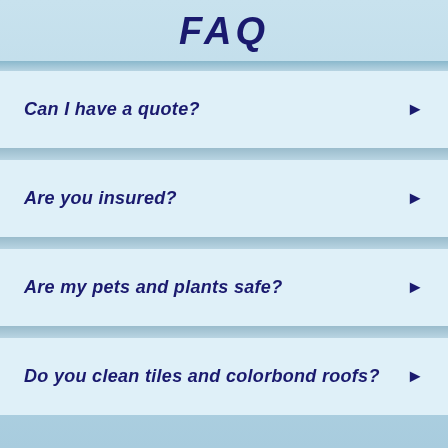FAQ
Can I have a quote?
Are you insured?
Are my pets and plants safe?
Do you clean tiles and colorbond roofs?